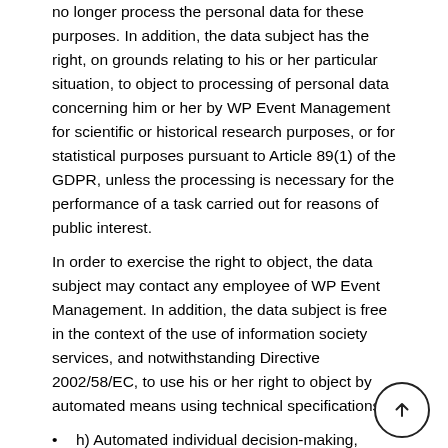no longer process the personal data for these purposes. In addition, the data subject has the right, on grounds relating to his or her particular situation, to object to processing of personal data concerning him or her by WP Event Management for scientific or historical research purposes, or for statistical purposes pursuant to Article 89(1) of the GDPR, unless the processing is necessary for the performance of a task carried out for reasons of public interest.
In order to exercise the right to object, the data subject may contact any employee of WP Event Management. In addition, the data subject is free in the context of the use of information society services, and notwithstanding Directive 2002/58/EC, to use his or her right to object by automated means using technical specifications.
h) Automated individual decision-making, including profiling Each data subject shall have the right granted by the